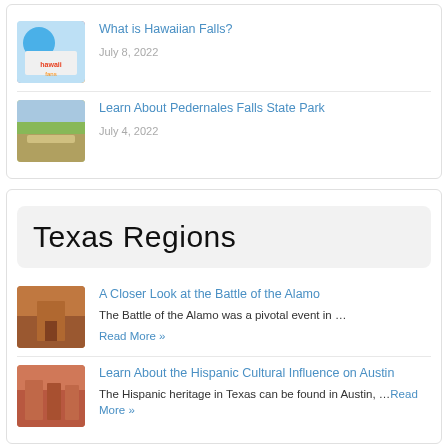[Figure (photo): Hawaiian Falls logo/image thumbnail]
What is Hawaiian Falls?
July 8, 2022
[Figure (photo): Pedernales Falls State Park landscape photo thumbnail]
Learn About Pedernales Falls State Park
July 4, 2022
Texas Regions
[Figure (photo): Battle of the Alamo artwork thumbnail]
A Closer Look at the Battle of the Alamo
The Battle of the Alamo was a pivotal event in …
Read More »
[Figure (photo): Hispanic Cultural Influence on Austin street scene thumbnail]
Learn About the Hispanic Cultural Influence on Austin
The Hispanic heritage in Texas can be found in Austin, ...
Read More »